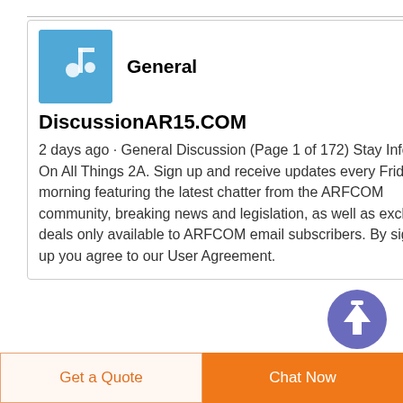[Figure (screenshot): Blue icon with a white musical note or similar symbol representing the General discussion forum]
General
DiscussionAR15.COM
2 days ago · General Discussion (Page 1 of 172) Stay Informed On All Things 2A. Sign up and receive updates every Friday morning featuring the latest chatter from the ARFCOM community, breaking news and legislation, as well as exclusive deals only available to ARFCOM email subscribers. By signing up you agree to our User Agreement.
[Figure (illustration): Purple circular button with a white upward arrow, used as a scroll-to-top control]
Get a Quote
Chat Now